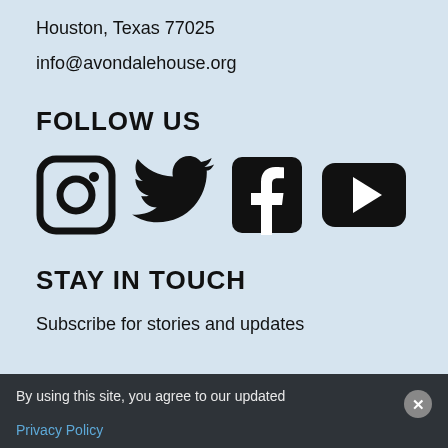Houston, Texas 77025
info@avondalehouse.org
FOLLOW US
[Figure (illustration): Four social media icons: Instagram, Twitter, Facebook, YouTube]
STAY IN TOUCH
Subscribe for stories and updates
By using this site, you agree to our updated Privacy Policy